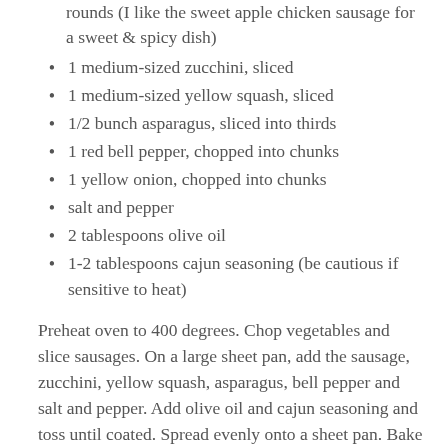11 ounces chicken or pork sausage links, sliced into rounds (I like the sweet apple chicken sausage for a sweet & spicy dish)
1 medium-sized zucchini, sliced
1 medium-sized yellow squash, sliced
1/2 bunch asparagus, sliced into thirds
1 red bell pepper, chopped into chunks
1 yellow onion, chopped into chunks
salt and pepper
2 tablespoons olive oil
1-2 tablespoons cajun seasoning (be cautious if sensitive to heat)
Preheat oven to 400 degrees. Chop vegetables and slice sausages. On a large sheet pan, add the sausage, zucchini, yellow squash, asparagus, bell pepper and salt and pepper. Add olive oil and cajun seasoning and toss until coated. Spread evenly onto a sheet pan. Bake in preheated oven